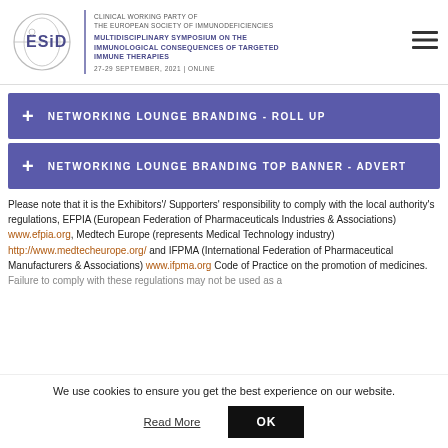CLINICAL WORKING PARTY OF THE EUROPEAN SOCIETY OF IMMUNODEFICIENCIES
MULTIDISCIPLINARY SYMPOSIUM ON THE IMMUNOLOGICAL CONSEQUENCES OF TARGETED IMMUNE THERAPIES
27-29 SEPTEMBER, 2021 | ONLINE
+ NETWORKING LOUNGE BRANDING - ROLL UP
+ NETWORKING LOUNGE BRANDING TOP BANNER - ADVERT
Please note that it is the Exhibitors'/ Supporters' responsibility to comply with the local authority's regulations, EFPIA (European Federation of Pharmaceuticals Industries & Associations) www.efpia.org, Medtech Europe (represents Medical Technology industry) http://www.medtecheurope.org/ and IFPMA (International Federation of Pharmaceutical Manufacturers & Associations) www.ifpma.org Code of Practice on the promotion of medicines. Failure to comply with these regulations may not be used as a
We use cookies to ensure you get the best experience on our website.